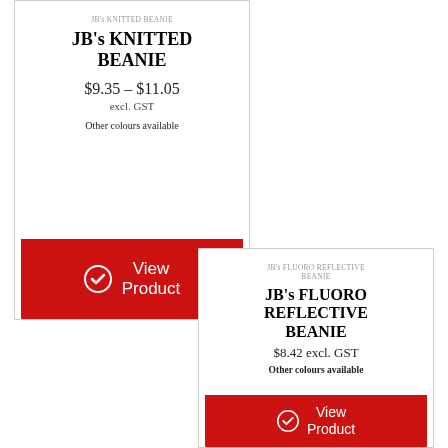JB's KNITTED BEANIE
JB's KNITTED BEANIE
$9.35 – $11.05
excl. GST
Other colours available
[Figure (other): Red 'View Product' button with white circle checkmark icon]
JB's FLUORO REFLECTIVE BEANIE
JB's FLUORO REFLECTIVE BEANIE
$8.42 excl. GST
Other colours available
[Figure (other): Red 'View Product' button with white circle checkmark icon]